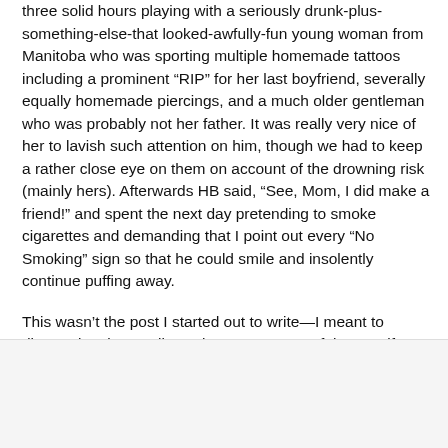reference Dirty Monkeys #1 and #2.) Next day, he spent three solid hours playing with a seriously drunk-plus-something-else-that looked-awfully-fun young woman from Manitoba who was sporting multiple homemade tattoos including a prominent “RIP” for her last boyfriend, severally equally homemade piercings, and a much older gentleman who was probably not her father. It was really very nice of her to lavish such attention on him, though we had to keep a rather close eye on them on account of the drowning risk (mainly hers). Afterwards HB said, “See, Mom, I did make a friend!” and spent the next day pretending to smoke cigarettes and demanding that I point out every “No Smoking” sign so that he could smile and insolently continue puffing away.
This wasn’t the post I started out to write—I meant to discuss jogging strollers—but now I’m out of time, so if you have any advice re that subject, get it ready for next time.